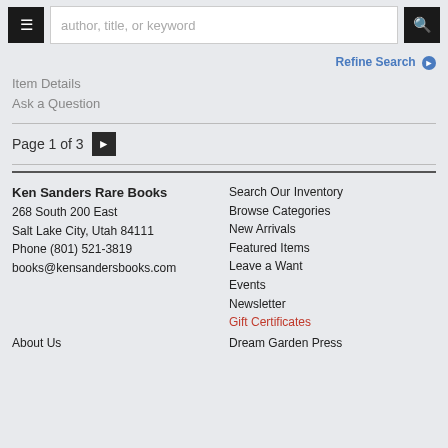author, title, or keyword [search bar with menu and search buttons]
Refine Search
Item Details
Ask a Question
Page 1 of 3
Ken Sanders Rare Books
268 South 200 East
Salt Lake City, Utah 84111
Phone (801) 521-3819
books@kensandersbooks.com
Search Our Inventory
Browse Categories
New Arrivals
Featured Items
Leave a Want
Events
Newsletter
Gift Certificates
About Us
Dream Garden Press